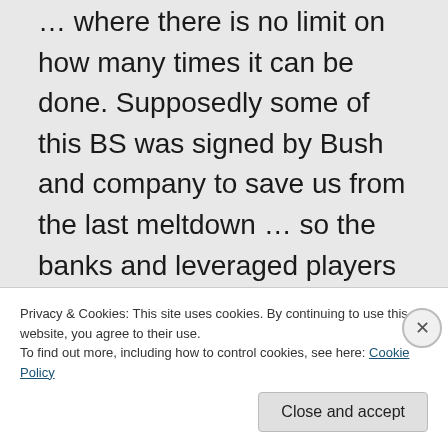… where there is no limit on how many times it can be done. Supposedly some of this BS was signed by Bush and company to save us from the last meltdown … so the banks and leveraged players can now
Privacy & Cookies: This site uses cookies. By continuing to use this website, you agree to their use.
To find out more, including how to control cookies, see here: Cookie Policy